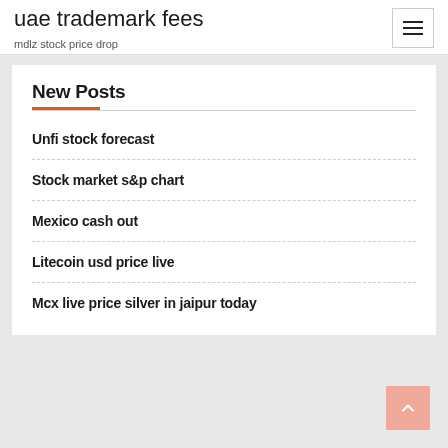uae trademark fees
mdlz stock price drop
New Posts
Unfi stock forecast
Stock market s&p chart
Mexico cash out
Litecoin usd price live
Mcx live price silver in jaipur today